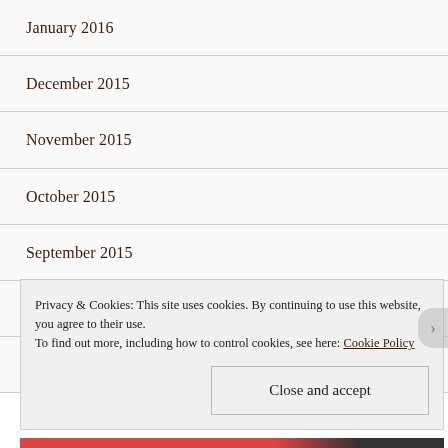January 2016
December 2015
November 2015
October 2015
September 2015
August 2015
July 2015
Privacy & Cookies: This site uses cookies. By continuing to use this website, you agree to their use. To find out more, including how to control cookies, see here: Cookie Policy
Close and accept